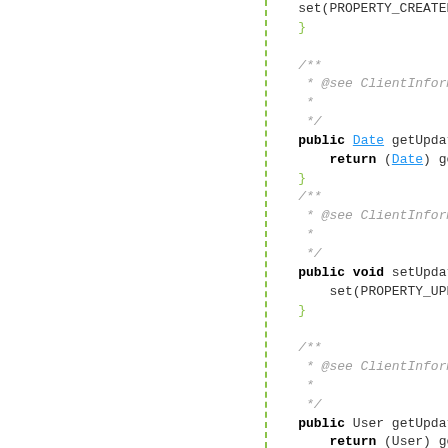[Figure (screenshot): Source code viewer showing Java methods: getUpdated(), setUpdated(Date), getUpdatedBy() with Javadoc comments. Left half of page is blank (navigational/outline panel). Right half shows code with syntax highlighting.]